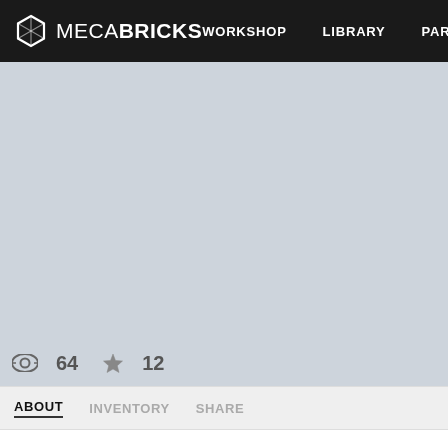MECABRICKS — WORKSHOP  LIBRARY  PARTS
[Figure (screenshot): Light blue-grey placeholder image area for a 3D model preview]
64 views  12 favorites
ABOUT   INVENTORY   SHARE
I made a clone smuggler for SuperPup1
Name: Starret
Species: Human
Weapons and Equipment: DC-15 Blaster Rifle, Pistol, Clone Armo